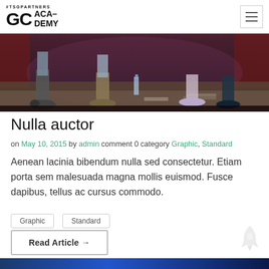#TSGPARTNERS GC ACADEMY
[Figure (photo): Photo of people seated on a stage, showing their feet and lower legs. Sneakers, boots visible on a dark stage floor with books.]
Nulla auctor
on May 10, 2015 by admin comment 0 category Graphic, Standard
Aenean lacinia bibendum nulla sed consectetur. Etiam porta sem malesuada magna mollis euismod. Fusce dapibus, tellus ac cursus commodo.
Graphic
Standard
Read Article →